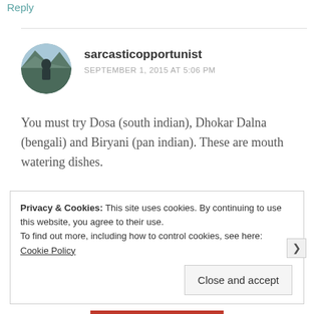Reply
[Figure (photo): Circular avatar photo of commenter sarcasticopportunist, showing a person outdoors with mountains in background]
sarcasticopportunist
SEPTEMBER 1, 2015 AT 5:06 PM
You must try Dosa (south indian), Dhokar Dalna (bengali) and Biryani (pan indian). These are mouth watering dishes.
★ Like
Privacy & Cookies: This site uses cookies. By continuing to use this website, you agree to their use.
To find out more, including how to control cookies, see here: Cookie Policy
Close and accept